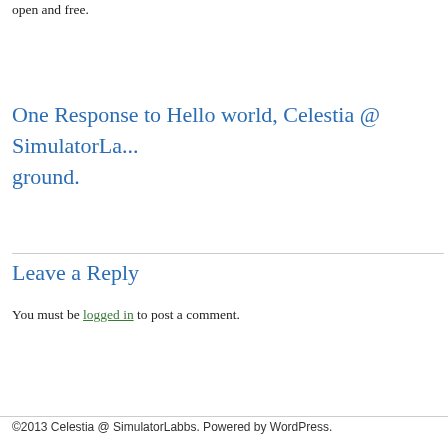open and free.
One Response to Hello world, Celestia @ SimulatorLa… ground.
Leave a Reply
You must be logged in to post a comment.
©2013 Celestia @ SimulatorLabbs. Powered by WordPress.